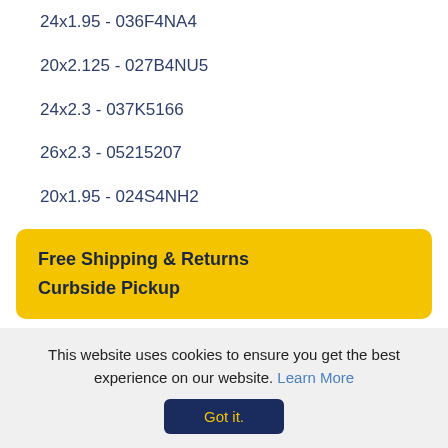24x1.95 - 036F4NA4
20x2.125 - 027B4NU5
24x2.3 - 037K5166
26x2.3 - 05215207
20x1.95 - 024S4NH2
Free Shipping & Returns
Curbside Pickup
This website uses cookies to ensure you get the best experience on our website. Learn More
Got it.